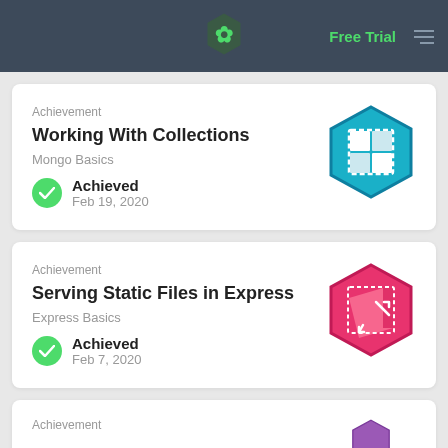Free Trial
Achievement
Working With Collections
Mongo Basics
Achieved
Feb 19, 2020
[Figure (illustration): Teal hexagon badge with a grid/collection icon]
Achievement
Serving Static Files in Express
Express Basics
Achieved
Feb 7, 2020
[Figure (illustration): Pink/red hexagon badge with a file/export icon]
Achievement